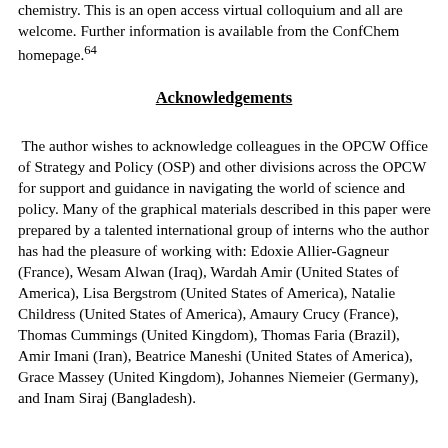chemistry. This is an open access virtual colloquium and all are welcome. Further information is available from the ConfChem homepage.64
Acknowledgements
The author wishes to acknowledge colleagues in the OPCW Office of Strategy and Policy (OSP) and other divisions across the OPCW for support and guidance in navigating the world of science and policy. Many of the graphical materials described in this paper were prepared by a talented international group of interns who the author has had the pleasure of working with: Edoxie Allier-Gagneur (France), Wesam Alwan (Iraq), Wardah Amir (United States of America), Lisa Bergstrom (United States of America), Natalie Childress (United States of America), Amaury Crucy (France), Thomas Cummings (United Kingdom), Thomas Faria (Brazil), Amir Imani (Iran), Beatrice Maneshi (United States of America), Grace Massey (United Kingdom), Johannes Niemeier (Germany), and Inam Siraj (Bangladesh).